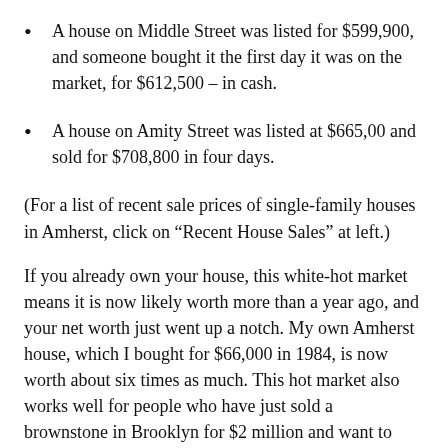A house on Middle Street was listed for $599,900, and someone bought it the first day it was on the market, for $612,500 – in cash.
A house on Amity Street was listed at $665,00 and sold for $708,800 in four days.
(For a list of recent sale prices of single-family houses in Amherst, click on “Recent House Sales” at left.)
If you already own your house, this white-hot market means it is now likely worth more than a year ago, and your net worth just went up a notch. My own Amherst house, which I bought for $66,000 in 1984, is now worth about six times as much. This hot market also works well for people who have just sold a brownstone in Brooklyn for $2 million and want to buy a house in Amherst and still have